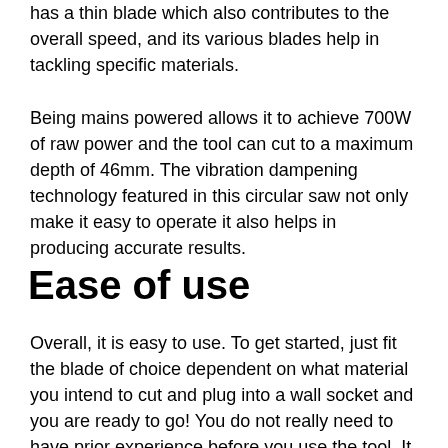has a thin blade which also contributes to the overall speed, and its various blades help in tackling specific materials.
Being mains powered allows it to achieve 700W of raw power and the tool can cut to a maximum depth of 46mm. The vibration dampening technology featured in this circular saw not only make it easy to operate it also helps in producing accurate results.
Ease of use
Overall, it is easy to use. To get started, just fit the blade of choice dependent on what material you intend to cut and plug into a wall socket and you are ready to go! You do not really need to have prior experience before you use the tool. It will take a bit of adjustment and time to get used to adjusting settings like the bevel level and setting the depth of your cut. Full information is provided in the handy user